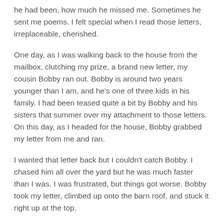he had been, how much he missed me. Sometimes he sent me poems. I felt special when I read those letters, irreplaceable, cherished.
One day, as I was walking back to the house from the mailbox, clutching my prize, a brand new letter, my cousin Bobby ran out. Bobby is around two years younger than I am, and he's one of three kids in his family. I had been teased quite a bit by Bobby and his sisters that summer over my attachment to those letters. On this day, as I headed for the house, Bobby grabbed my letter from me and ran.
I wanted that letter back but I couldn't catch Bobby. I chased him all over the yard but he was much faster than I was. I was frustrated, but things got worse. Bobby took my letter, climbed up onto the barn roof, and stuck it right up at the top.
I stood there on the ground and looked up at that letter. I wanted it. No, I needed it. I don't think I hesitated. I didn't stop to consider that the barn was two stories high and that I was afraid of heights. I immediately started climbing up the ladder on the side of the barn. And I didn't stop until I was